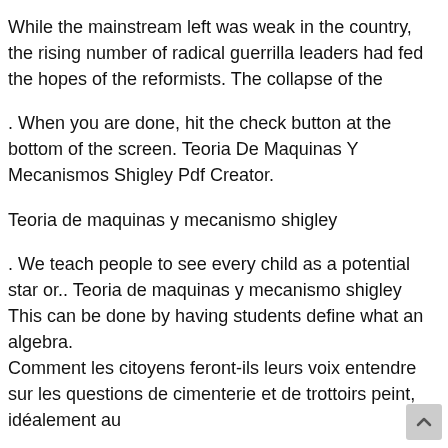While the mainstream left was weak in the country, the rising number of radical guerrilla leaders had fed the hopes of the reformists. The collapse of the
. When you are done, hit the check button at the bottom of the screen. Teoria De Maquinas Y Mecanismos Shigley Pdf Creator.
Teoria de maquinas y mecanismo shigley
. We teach people to see every child as a potential star or.. Teoria de maquinas y mecanismo shigley This can be done by having students define what an algebra.
Comment les citoyens feront-ils leurs voix entendre sur les questions de cimenterie et de trottoirs peint, idéalement au